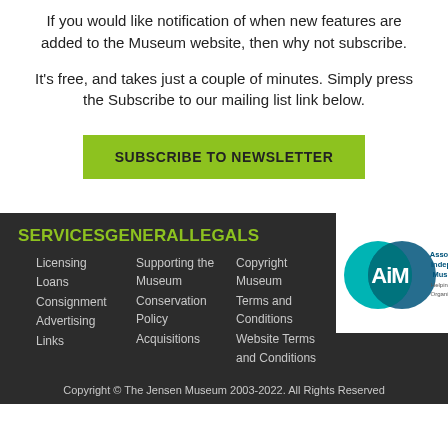If you would like notification of when new features are added to the Museum website, then why not subscribe.
It's free, and takes just a couple of minutes. Simply press the Subscribe to our mailing list link below.
SUBSCRIBE TO NEWSLETTER
SERVICESGENERALLEGALS
Licensing
Loans
Consignment
Advertising
Links
Supporting the Museum
Conservation Policy
Acquisitions
Copyright Museum
Terms and Conditions
Website Terms and Conditions
[Figure (logo): AiM - Association of Independent Museums logo with teal and blue overlapping circles]
Copyright © The Jensen Museum 2003-2022. All Rights Reserved